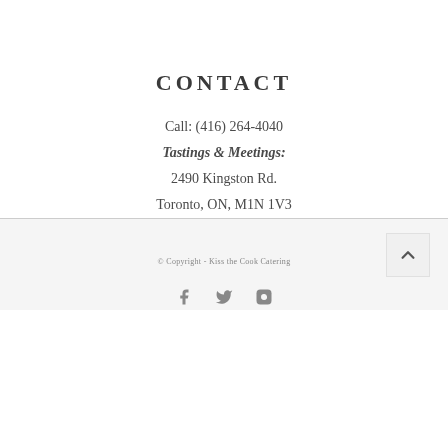CONTACT
Call: (416) 264-4040
Tastings & Meetings:
2490 Kingston Rd.
Toronto, ON, M1N 1V3
© Copyright - Kiss the Cook Catering